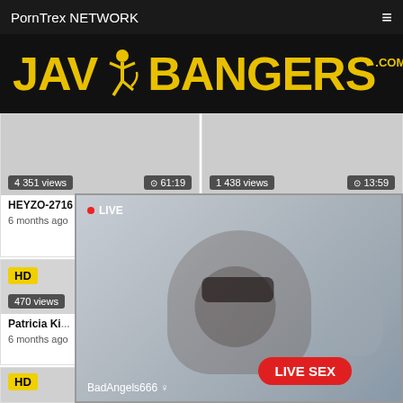PornTrex NETWORK
[Figure (logo): JAV BANGERS .com logo in yellow on black background]
[Figure (screenshot): Video thumbnail placeholder - 4 351 views, 61:19, HEYZO-2716 - Hina Hodaka, 6 months ago, 88% likes]
[Figure (screenshot): Video thumbnail placeholder - 1 438 views, 13:59, Very Myller - Intense Anal Sex, 7 months ago, 100% likes]
[Figure (screenshot): HD Video thumbnail - 470 views, Patricia Ki..., 6 months ago]
[Figure (screenshot): HD Video thumbnail - right column middle row]
[Figure (screenshot): HD video thumbnail - bottom left]
[Figure (photo): Live overlay showing person wearing black mask, LIVE badge, BadAngels666 username, LIVE SEX button]